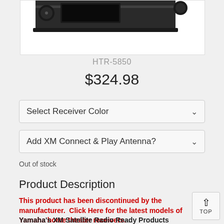[Figure (photo): Product image of Yamaha HTR-5850 receiver, partially cropped at top, showing front panel of black AV receiver on white background]
HTR-5850
$324.98
Select Receiver Color
Add XM Connect & Play Antenna?
Out of stock
Product Description
This product has been discontinued by the manufacturer.  Click Here for the latest models of Yamaha home theater receivers.
Yamaha's XM Satellite Radio Ready Products